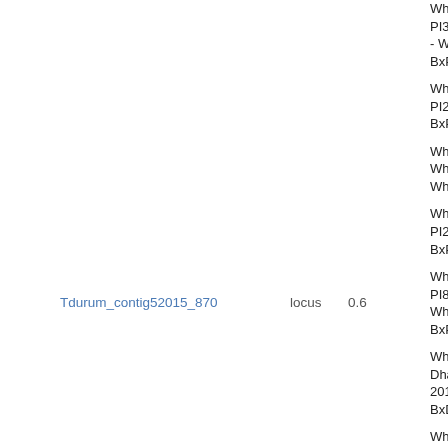Tdurum_contig52015_870   locus   0.6
Wheat ABD - Wheat-NAM4-Berkut-x-PI366 - Wheat-2018-NAM4-BxPI366716_7A
Wheat ABD - Wheat-NAM13-Berkut-x-PI262611 - Wheat-2018-NAM13-BxPI262611
Wheat ABD - Wheat_2014_90KSN - Wheat_2014_90KSN
Wheat ABD - Wheat-NAM29-Berkut-x-PI220431 - Wheat-2018-NAM29-BxPI220431
Wheat ABD - Wheat-NAM16-Berkut-x-PI8813 - Wheat-2018-NAM16-BxPI8813_7A
Wheat ABD - Wheat-NAM1-Berkut-x-DharwarDry - Wheat-2018-NAM1-BxDharwarDry_7A
Wheat ABD - Wheat-NAM3-Berkut-x-PI28 - Wheat-2018-NAM3